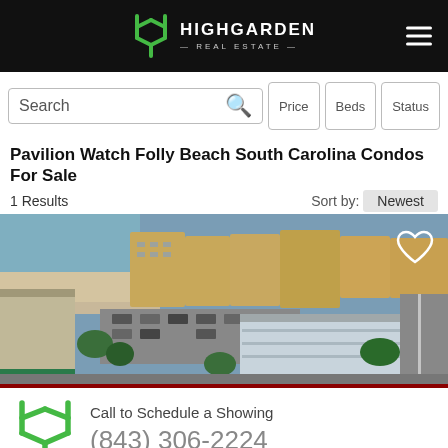Highgarden Real Estate
Search | Price | Beds | Status
Pavilion Watch Folly Beach South Carolina Condos For Sale
1 Results   Sort by: Newest
[Figure (photo): Aerial photo of Pavilion Watch condos at Folly Beach, South Carolina, showing beachfront buildings, parking lot, and surrounding streets.]
Call to Schedule a Showing
(843) 306-2224